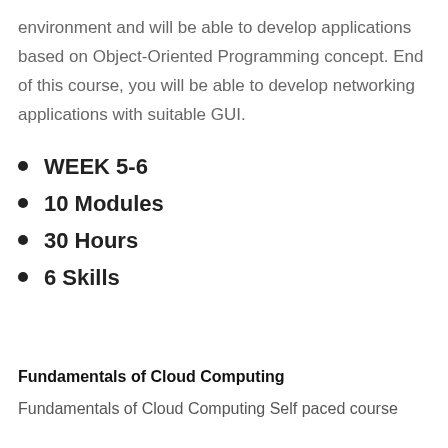environment and will be able to develop applications based on Object-Oriented Programming concept. End of this course, you will be able to develop networking applications with suitable GUI.
WEEK 5-6
10 Modules
30 Hours
6 Skills
Fundamentals of Cloud Computing
Fundamentals of Cloud Computing Self paced course